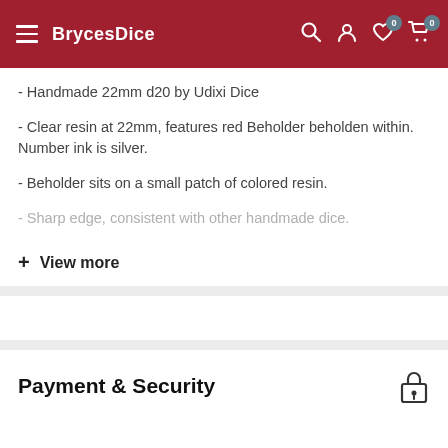BrycesDice
- Handmade 22mm d20 by Udixi Dice
- Clear resin at 22mm, features red Beholder beholden within. Number ink is silver.
- Beholder sits on a small patch of colored resin.
- Sharp edge, consistent with other handmade dice.
+ View more
Payment & Security